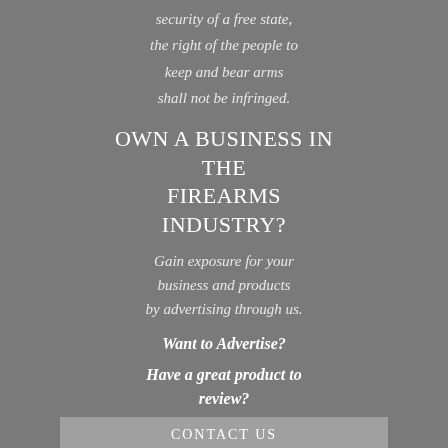security of a free state,
the right of the people to
keep and bear arms
shall not be infringed.
OWN A BUSINESS IN THE FIREARMS INDUSTRY?
Gain exposure for your business and products by advertising through us.
Want to Advertise?
Have a great product to review?
CONTACT US